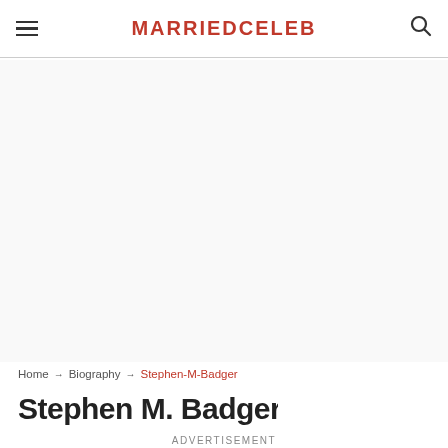MARRIEDCELEB
[Figure (other): Advertisement placeholder area (blank white/light gray space)]
Home → Biography → Stephen-M-Badger
Stephen M. Badger
ADVERTISEMENT